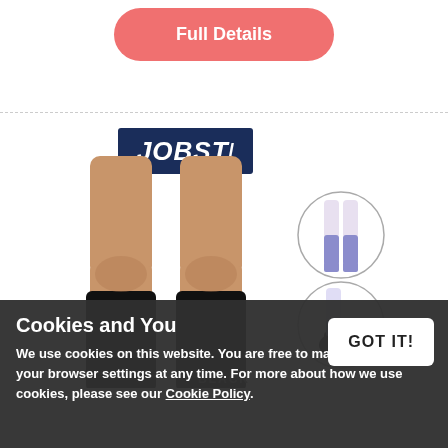[Figure (other): Pink rounded button labeled 'Full Details']
[Figure (photo): JOBST compression socks product image showing a person's legs wearing black knee-high compression socks, with a JOBST logo banner, plus two circular diagrams showing sock coverage areas (knee-high and foot)]
BLACK
Cookies and You
We use cookies on this website. You are free to manage these via your browser settings at any time. For more about how we use cookies, please see our Cookie Policy.
GOT IT!